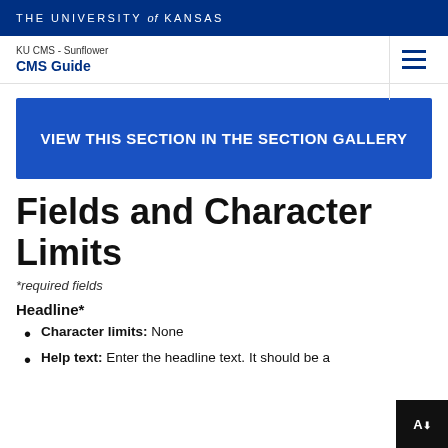THE UNIVERSITY of KANSAS
KU CMS - Sunflower
CMS Guide
[Figure (other): Blue banner button: VIEW THIS SECTION IN THE SECTION GALLERY]
Fields and Character Limits
*required fields
Headline*
Character limits: None
Help text: Enter the headline text. It should be a